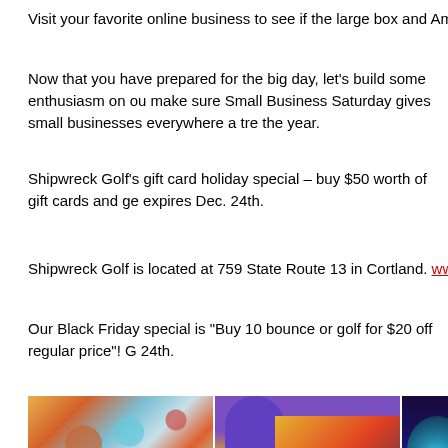Visit your favorite online business to see if the large box and Amazon type sto
Now that you have prepared for the big day, let’s build some enthusiasm on ou make sure Small Business Saturday gives small businesses everywhere a tre the year.
Shipwreck Golf’s gift card holiday special – buy $50 worth of gift cards and ge expires Dec. 24th.
Shipwreck Golf is located at 759 State Route 13 in Cortland. www.shipwreckg
Our Black Friday special is “Buy 10 bounce or golf for $20 off regular price”! G 24th.
[Figure (photo): Three photos in a row: colorful gemstones, a bounce house inflatable, and a glowing mini golf interior]
[Figure (photo): Bounce house inflatable with purple, yellow and red colors]
[Figure (photo): Glowing mini golf course interior with blue/purple lighting]